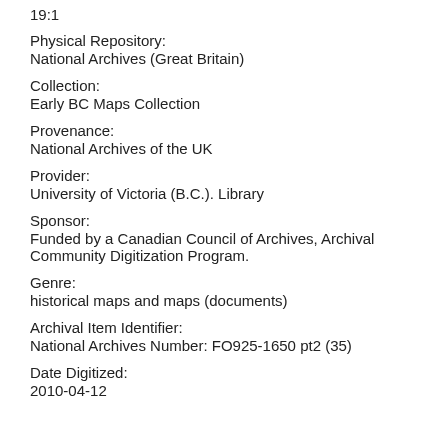19:1
Physical Repository:
National Archives (Great Britain)
Collection:
Early BC Maps Collection
Provenance:
National Archives of the UK
Provider:
University of Victoria (B.C.). Library
Sponsor:
Funded by a Canadian Council of Archives, Archival Community Digitization Program.
Genre:
historical maps and maps (documents)
Archival Item Identifier:
National Archives Number: FO925-1650 pt2 (35)
Date Digitized:
2010-04-12